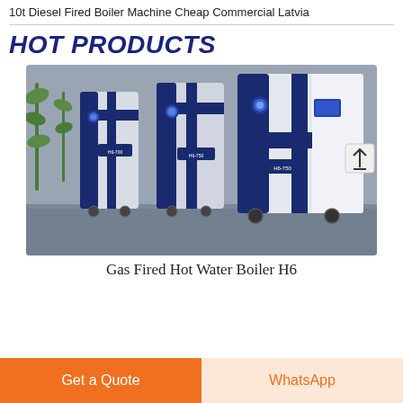10t Diesel Fired Boiler Machine Cheap Commercial Latvia
HOT PRODUCTS
[Figure (photo): Three blue and white gas-fired hot water boiler machines (models H6-700, H6-750, H6-750) displayed side by side in a showroom with a gray stone wall background and green plant on the left.]
Gas Fired Hot Water Boiler H6
Get a Quote
WhatsApp